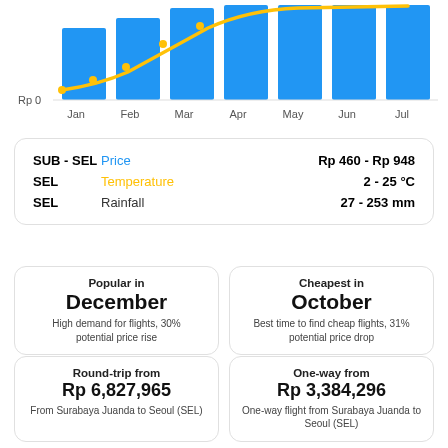[Figure (bar-chart): Bar chart showing flight prices by month with a yellow curve overlay. All bars are blue. Y-axis starts at Rp 0. X-axis shows Jan through Jul (and beyond).]
| Route | Type | Range |
| --- | --- | --- |
| SUB - SEL | Price | Rp 460 - Rp 948 |
| SEL | Temperature | 2 - 25 °C |
| SEL | Rainfall | 27 - 253 mm |
Popular in
December
High demand for flights, 30% potential price rise
Cheapest in
October
Best time to find cheap flights, 31% potential price drop
Round-trip from
Rp 6,827,965
From Surabaya Juanda to Seoul (SEL)
One-way from
Rp 3,384,296
One-way flight from Surabaya Juanda to Seoul (SEL)